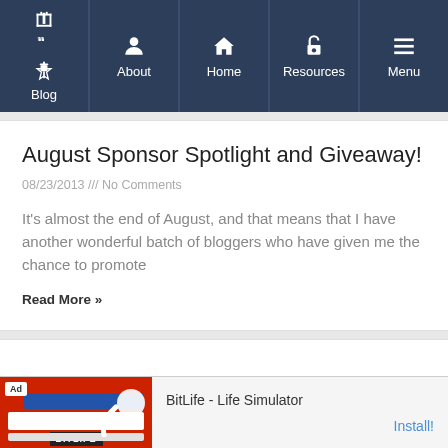Blog | About | Home | Resources | Menu
August Sponsor Spotlight and Giveaway!
08/23/2013 /// No Comments
It's almost the end of August, and that means that I have another wonderful batch of bloggers who have given me the chance to promote
Read More »
[Figure (other): Empty white content card area]
[Figure (other): Advertisement banner for BitLife - Life Simulator app with red background and install button]